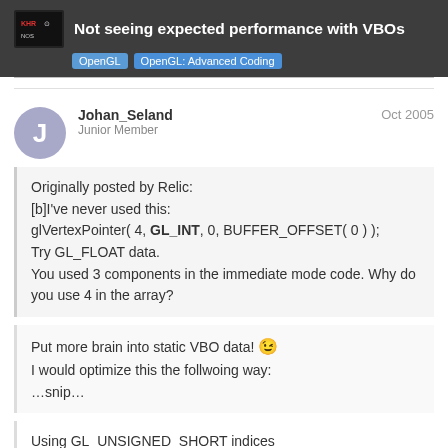Not seeing expected performance with VBOs — OpenGL | OpenGL: Advanced Coding
Johan_Seland
Junior Member
Oct 2005
Originally posted by Relic:
[b]I've never used this:
glVertexPointer( 4, GL_INT, 0, BUFFER_OFFSET( 0 ) );
Try GL_FLOAT data.
You used 3 components in the immediate mode code. Why do you use 4 in the array?
Put more brain into static VBO data! 😉
I would optimize this the follwoing way:
…snip…
Using GL_UNSIGNED_SHORT indices
performance
5 / 8